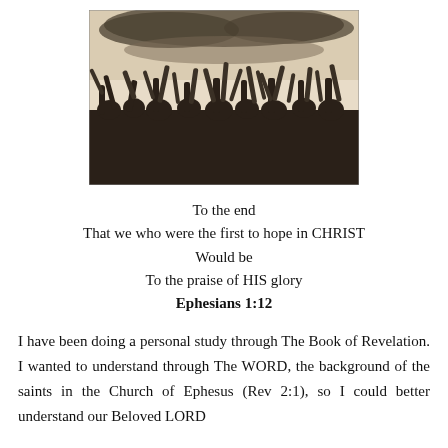[Figure (photo): Black and white / sepia-toned photograph of a crowd of people with hands raised in worship or celebration, against a light sky background.]
To the end
That we who were the first to hope in CHRIST
Would be
To the praise of HIS glory
Ephesians 1:12
I have been doing a personal study through The Book of Revelation. I wanted to understand through The WORD, the background of the saints in the Church of Ephesus (Rev 2:1), so I could better understand our Beloved LORD